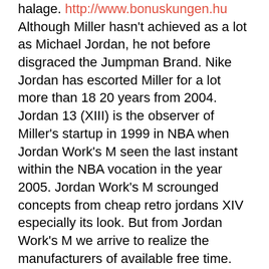halage. http://www.bonuskungen.hu Although Miller hasn't achieved as a lot as Michael Jordan, he not before disgraced the Jumpman Brand. Nike Jordan has escorted Miller for a lot more than 18 20 years from 2004. Jordan 13 (XIII) is the observer of Miller's startup in 1999 in NBA when Jordan Work's M seen the last instant within the NBA vocation in the year 2005. Jordan Work's M scrounged concepts from cheap retro jordans XIV especially its look. But from Jordan Work's M we arrive to realize the manufacturers of available free time. When MJ produced his 3rd coming back again in Wizard, we powerfully sensed that cheap retro jordans Era has arrived to last. UGG Skor Sverige,UGGS Rea Dam,UGG Skor Rea California passed a law in 1995 that women were within a position to wear pants to run. It's unbelievable to think 16 years later that legislation had turn out to be passed for this. Pants are a staple in implies woman's clothes. The thought that she had for years done it this…